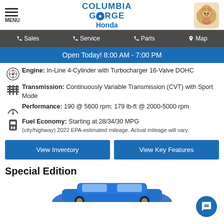Columbia Gorge Honda
Sales | Service | Parts | Map
Open Today! 8:00 AM - 7:00 PM
Engine: In-Line 4-Cylinder with Turbocharger 16-Valve DOHC
Transmission: Continuously Variable Transmission (CVT) with Sport Mode
Performance: 190 @ 5600 rpm; 179 lb-ft @ 2000-5000 rpm
Fuel Economy: Starting at 28/34/30 MPG (city/highway) 2022 EPA-estimated mileage. Actual mileage will vary.
View Inventory
View Key Features
Special Edition